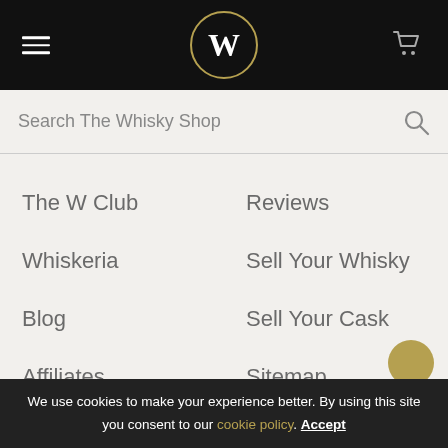W — The Whisky Shop header with hamburger menu, logo, and cart icon
Search The Whisky Shop
The W Club
Reviews
Whiskeria
Sell Your Whisky
Blog
Sell Your Cask
Affiliates
Sitemap
€ FR
We use cookies to make your experience better. By using this site you consent to our cookie policy. Accept